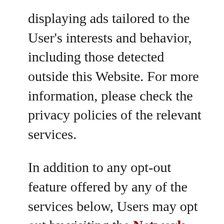displaying ads tailored to the User's interests and behavior, including those detected outside this Website. For more information, please check the privacy policies of the relevant services.
In addition to any opt-out feature offered by any of the services below, Users may opt out by visiting the Network Advertising Initiative opt-out page.
Users may also opt-out of certain advertising features through applicable device settings, such as the device advertising settings for mobile phones or ads settings in general.